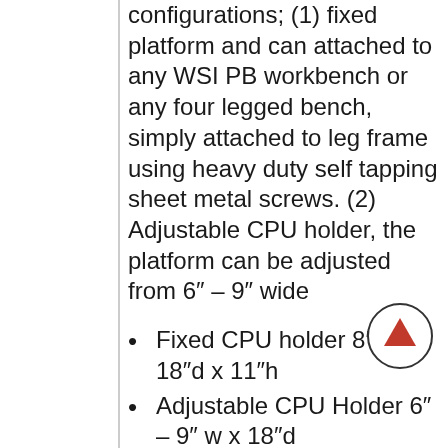configurations; (1) fixed platform and can attached to any WSI PB workbench or any four legged bench, simply attached to leg frame using heavy duty self tapping sheet metal screws. (2) Adjustable CPU holder, the platform can be adjusted from 6″ – 9″ wide
Fixed CPU holder 8″w x 18″d x 11″h
Adjustable CPU Holder 6″ – 9″ w x 18″d